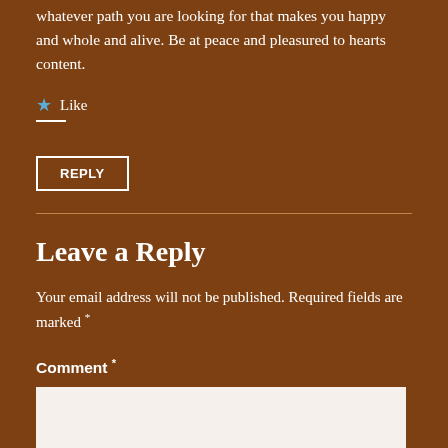whatever path you are looking for that makes you happy and whole and alive. Be at peace and pleasured to hearts content.
★ Like
REPLY
Leave a Reply
Your email address will not be published. Required fields are marked *
Comment *